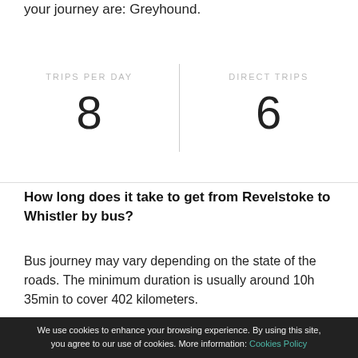your journey are: Greyhound.
| TRIPS PER DAY | DIRECT TRIPS |
| --- | --- |
| 8 | 6 |
How long does it take to get from Revelstoke to Whistler by bus?
Bus journey may vary depending on the state of the roads. The minimum duration is usually around 10h 35min to cover 402 kilometers.
I'm looking for cheap tickets for this route ...
We use cookies to enhance your browsing experience. By using this site, you agree to our use of cookies. More information: Cookies Policy